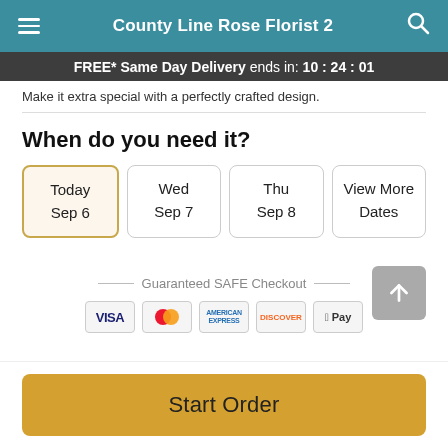County Line Rose Florist 2
FREE* Same Day Delivery ends in: 10:24:01
Make it extra special with a perfectly crafted design.
When do you need it?
Today Sep 6
Wed Sep 7
Thu Sep 8
View More Dates
Guaranteed SAFE Checkout
Start Order